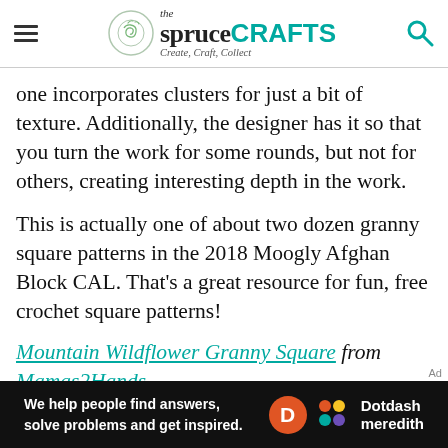the spruceCRAFTS Create, Craft, Collect
one incorporates clusters for just a bit of texture. Additionally, the designer has it so that you turn the work for some rounds, but not for others, creating interesting depth in the work.
This is actually one of about two dozen granny square patterns in the 2018 Moogly Afghan Block CAL. That's a great resource for fun, free crochet square patterns!
Mountain Wildflower Granny Square from Mamas2Hands
[Figure (other): Dotdash Meredith advertisement banner: 'We help people find answers, solve problems and get inspired.' with Dotdash Meredith logo on black background]